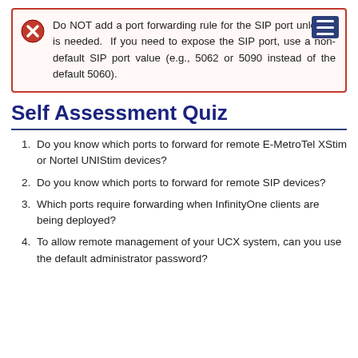Do NOT add a port forwarding rule for the SIP port unless it is needed. If you need to expose the SIP port, use a non-default SIP port value (e.g., 5062 or 5090 instead of the default 5060).
Self Assessment Quiz
Do you know which ports to forward for remote E-MetroTel XStim or Nortel UNIStim devices?
Do you know which ports to forward for remote SIP devices?
Which ports require forwarding when InfinityOne clients are being deployed?
To allow remote management of your UCX system, can you use the default administrator password?